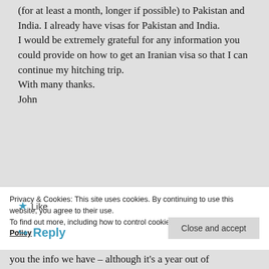(for at least a month, longer if possible) to Pakistan and India. I already have visas for Pakistan and India.
I would be extremely grateful for any information you could provide on how to get an Iranian visa so that I can continue my hitching trip.
With many thanks.
John
★ Like
↪ Reply
Privacy & Cookies: This site uses cookies. By continuing to use this website, you agree to their use.
To find out more, including how to control cookies, see here: Cookie Policy
Close and accept
you the info we have – although it's a year out of